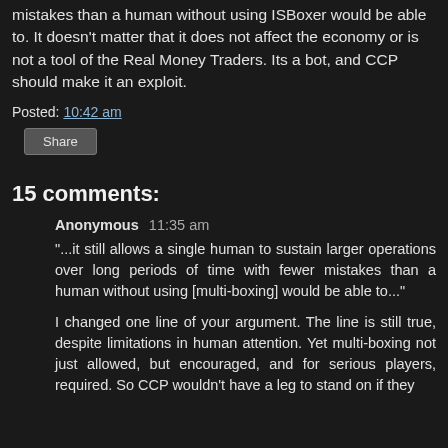mistakes than a human without using ISBoxer would be able to. It doesn't matter that it does not affect the economy or is not a tool of the Real Money Traders. Its a bot, and CCP should make it an exploit.
Posted: 10:42 am
Share
15 comments:
Anonymous  11:35 am
"...it still allows a single human to sustain larger operations over long periods of time with fewer mistakes than a human without using [multi-boxing] would be able to..."
I changed one line of your argument. The line is still true, despite limitations in human attention. Yet multi-boxing not just allowed, but encouraged, and for serious players, required. So CCP wouldn't have a leg to stand on if they